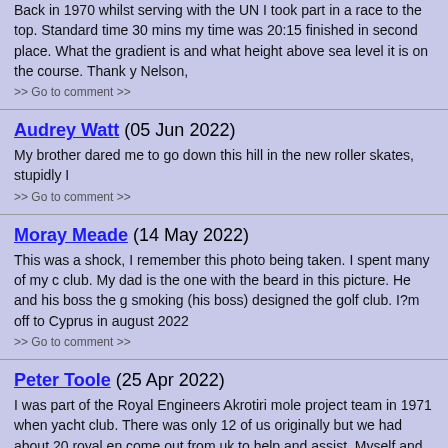Back in 1970 whilst serving with the UN I took part in a race to the top. Standard time 30 mins my time was 20:15 finished in second place. What the gradient is and what height above sea level it is on the course. Thank you Nelson,
>> Go to comment >>
Audrey Watt (05 Jun 2022)
My brother dared me to go down this hill in the new roller skates, stupidly I
>> Go to comment >>
Moray Meade (14 May 2022)
This was a shock, I remember this photo being taken. I spent many of my club. My dad is the one with the beard in this picture. He and his boss the g smoking (his boss) designed the golf club. I?m off to Cyprus in august 2022
>> Go to comment >>
Peter Toole (25 Apr 2022)
I was part of the Royal Engineers Akrotiri mole project team in 1971 when yacht club. There was only 12 of us originally but we had about 20 royal en come out from uk to help and assist. Myself and my mate Wally Telfer did a the mole. We kept all our explosives in the RAF bomb dump and became of